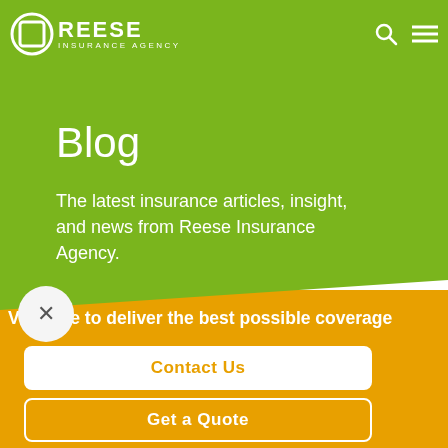REESE INSURANCE AGENCY
Blog
The latest insurance articles, insight, and news from Reese Insurance Agency.
Ve strive to deliver the best possible coverage
Contact Us
Get a Quote